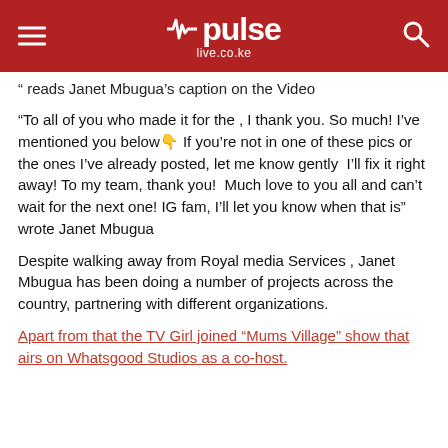pulse live.co.ke
" reads Janet Mbugua's caption on the Video
“To all of you who made it for the , I thank you. So much! I’ve mentioned you below👇 If you’re not in one of these pics or the ones I’ve already posted, let me know gently  I’ll fix it right away! To my team, thank you!  Much love to you all and can’t wait for the next one! IG fam, I’ll let you know when that is” wrote Janet Mbugua
Despite walking away from Royal media Services , Janet Mbugua has been doing a number of projects across the country, partnering with different organizations.
Apart from that the TV Girl joined “Mums Village” show that airs on Whatsgood Studios as a co-host.